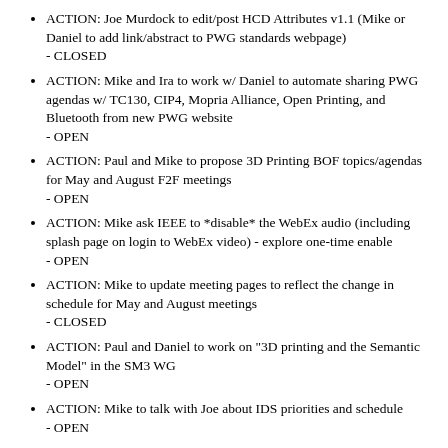ACTION: Joe Murdock to edit/post HCD Attributes v1.1 (Mike or Daniel to add link/abstract to PWG standards webpage)
- CLOSED
ACTION: Mike and Ira to work w/ Daniel to automate sharing PWG agendas w/ TC130, CIP4, Mopria Alliance, Open Printing, and Bluetooth from new PWG website
- OPEN
ACTION: Paul and Mike to propose 3D Printing BOF topics/agendas for May and August F2F meetings
- OPEN
ACTION: Mike ask IEEE to *disable* the WebEx audio (including splash page on login to WebEx video) - explore one-time enable
- OPEN
ACTION: Mike to update meeting pages to reflect the change in schedule for May and August meetings
- CLOSED
ACTION: Paul and Daniel to work on "3D printing and the Semantic Model" in the SM3 WG
- OPEN
ACTION: Mike to talk with Joe about IDS priorities and schedule
- OPEN